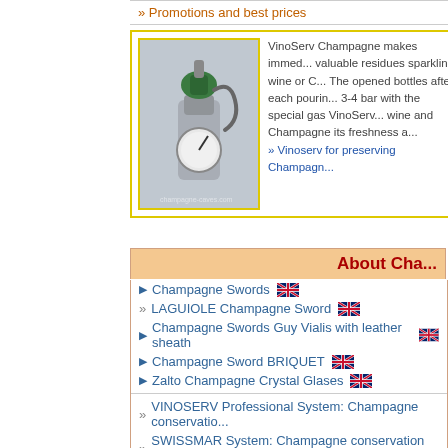» Promotions and best prices
[Figure (photo): Photo of a champagne preservation device with gauge and green valve head, yellow border]
VinoServ Champagne makes immed... valuable residues sparkling wine or C... The opened bottles after each pourin... 3-4 bar with the special gas VinoServ... wine and Champagne its freshness a... » Vinoserv for preserving Champagn...
About Cha...
Champagne Swords 🇬🇧
» LAGUIOLE Champagne Sword 🇬🇧
Champagne Swords Guy Vialis with leather sheath 🇬🇧
Champagne Sword BRIQUET 🇬🇧
Zalto Champagne Crystal Glases 🇬🇧
» VINOSERV Professional System: Champagne conservatio...
» SWISSMAR System: Champagne conservation after open...
VasscÖ champagne bowl 🇬🇧
Champagne buckets
Colored Champagne buckets